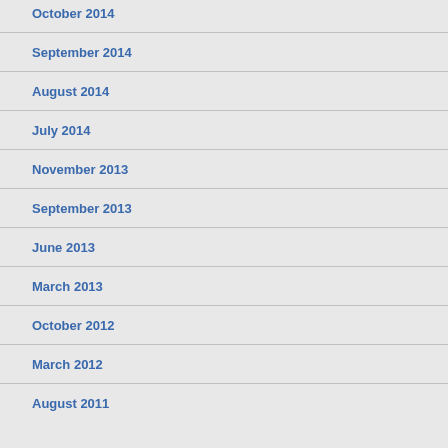October 2014
September 2014
August 2014
July 2014
November 2013
September 2013
June 2013
March 2013
October 2012
March 2012
August 2011